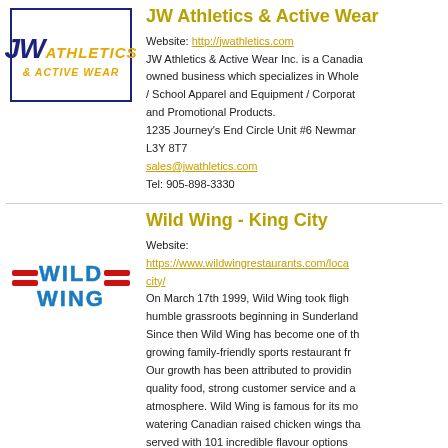JW Athletics & Active Wear
[Figure (logo): JW Athletics & Active Wear logo with blue JW and orange Athletics & Active Wear text in a blue border box]
Website: http://jwathletics.com
JW Athletics & Active Wear Inc. is a Canadian owned business which specializes in Whole / School Apparel and Equipment / Corporate and Promotional Products.
1235 Journey's End Circle Unit #6 Newmar L3Y 8T7
sales@jwathletics.com
Tel: 905-898-3330
Wild Wing - King City
[Figure (logo): Wild Wing restaurant logo with blue bubble letters WILD WING and red horizontal bars on either side]
Website: https://www.wildwingrestaurants.com/locations/king-city/
On March 17th 1999, Wild Wing took flight with a humble grassroots beginning in Sunderland. Since then Wild Wing has become one of the fastest growing family-friendly sports restaurant franchises. Our growth has been attributed to providing quality food, strong customer service and a great atmosphere. Wild Wing is famous for its mouth watering Canadian raised chicken wings that are served with 101 incredible flavour options...